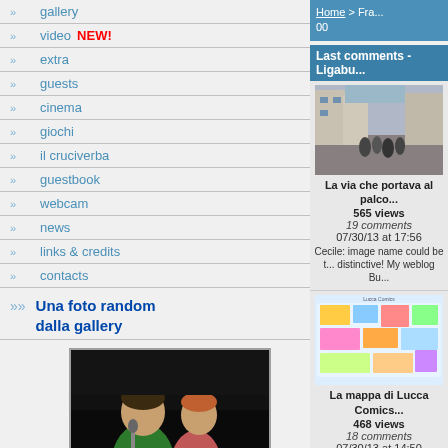» gallery
» video NEW!
» extra
» guests
» cinema
» giochi
» il cruciverba
» guestbook
» webcam
» news
» links & credits
» contacts
Una foto random dalla gallery
[Figure (photo): Photo of Lorenzo e Claudia at an outdoor event]
Lorenzo e Claudia (dall'album di Francesco: Estate 2008 - Cagliari)
Home > Fra... 00
Last comments - Ligabu...
[Figure (photo): Thumbnail of La via che portava al palco - street scene with crowd]
La via che portava al palco
565 views
19 comments
07/30/13 at 17:56
Cecile: image name could be distinctive! My weblog Bu...
[Figure (photo): Thumbnail of La mappa di Lucca Comics - colorful map]
La mappa di Lucca Comics
468 views
18 comments
07/30/13 at 14:50
Kandi: I favour the colorings. n blog :: garcinia cambo...